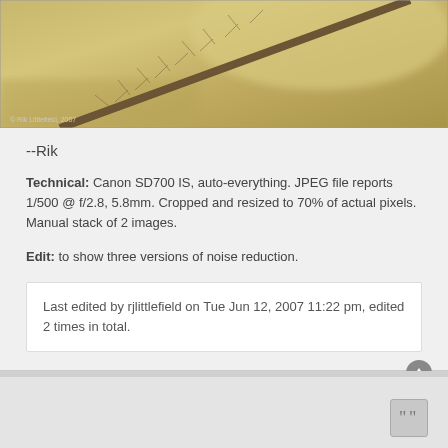[Figure (photo): Close-up macro photograph of a plant stem or grass stalk with fine hairs, warm golden-brown background, copyright Rik Littlefield 2007]
--Rik
Technical: Canon SD700 IS, auto-everything. JPEG file reports 1/500 @ f/2.8, 5.8mm. Cropped and resized to 70% of actual pixels. Manual stack of 2 images.
Edit: to show three versions of noise reduction.
Last edited by rjlittlefield on Tue Jun 12, 2007 11:22 pm, edited 2 times in total.
[Figure (photo): Small thumbnail image in the bottom section]